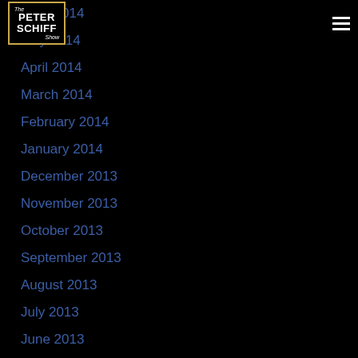The Peter Schiff Show
June 2014
May 2014
April 2014
March 2014
February 2014
January 2014
December 2013
November 2013
October 2013
September 2013
August 2013
July 2013
June 2013
May 2013
April 2013